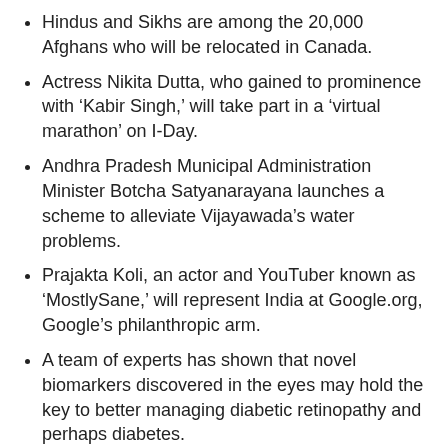Hindus and Sikhs are among the 20,000 Afghans who will be relocated in Canada.
Actress Nikita Dutta, who gained to prominence with ‘Kabir Singh,’ will take part in a ‘virtual marathon’ on I-Day.
Andhra Pradesh Municipal Administration Minister Botcha Satyanarayana launches a scheme to alleviate Vijayawada’s water problems.
Prajakta Koli, an actor and YouTuber known as ‘MostlySane,’ will represent India at Google.org, Google’s philanthropic arm.
A team of experts has shown that novel biomarkers discovered in the eyes may hold the key to better managing diabetic retinopathy and perhaps diabetes.
Lok Sabha Speaker Om Birla said that during India’s 75th year of independence, environmental preservation should be